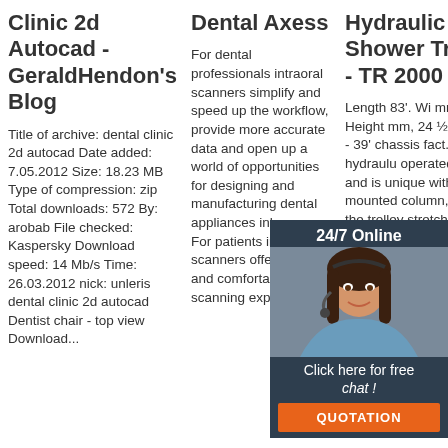Clinic 2d Autocad - GeraldHendon's Blog
Title of archive: dental clinic 2d autocad Date added: 7.05.2012 Size: 18.23 MB Type of compression: zip Total downloads: 572 By: arobab File checked: Kaspersky Download speed: 14 Mb/s Time: 26.03.2012 nick: unleris dental clinic 2d autocad Dentist chair - top view Download...
Dental Axess
For dental professionals intraoral scanners simplify and speed up the workflow, provide more accurate data and open up a world of opportunities for designing and manufacturing dental appliances inhouse. For patients intraoral scanners offer a quick and comfortable scanning experience.
Hydraulic Shower Trolley - TR 2000
Length 83'. Width mm 27 Height mm, 24 ½'. 685 27' - 39' chassis fact. TR hydraulic operated Trolley and is unique with its side mounted column, allowing the trolley stretcher to...
[Figure (photo): Chat widget overlay with a woman wearing a headset, dark background, '24/7 Online' label, 'Click here for free chat!' text, and an orange QUOTATION button]
[Figure (logo): TOP button with red dots and red bold text]